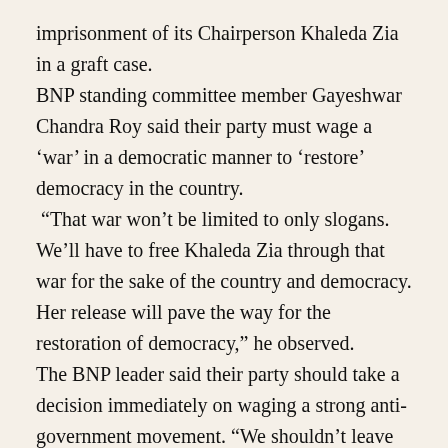imprisonment of its Chairperson Khaleda Zia in a graft case.
BNP standing committee member Gayeshwar Chandra Roy said their party must wage a ‘war’ in a democratic manner to ‘restore’ democracy in the country.
“That war won’t be limited to only slogans. We’ll have to free Khaleda Zia through that war for the sake of the country and democracy. Her release will pave the way for the restoration of democracy,” he observed.
The BNP leader said their party should take a decision immediately on waging a strong anti-government movement. “We shouldn’t leave the streets until we succeed. We have to prove it not in words but in our actions. We must occupy the streets together with people so that the corrupt